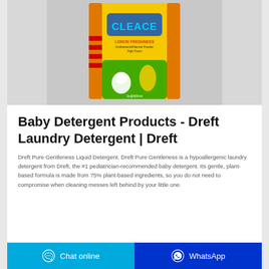[Figure (photo): Yellow and green bag of laundry detergent powder labeled 'CLEACE' with Lemon Freshness scent, antibacterial formula, displayed on a light gray background.]
Baby Detergent Products - Dreft Laundry Detergent | Dreft
Dreft Pure Gentleness Liquid Detergent. Dreft Pure Gentleness is a hypoallergenic laundry detergent from Dreft, the #1 pediatrician-recommended baby detergent. Its gentle, plant-based formula is made from 75% plant-based ingredients, so you do not need to compromise when cleaning messes left behind by your little one.
Chat online | WhatsApp